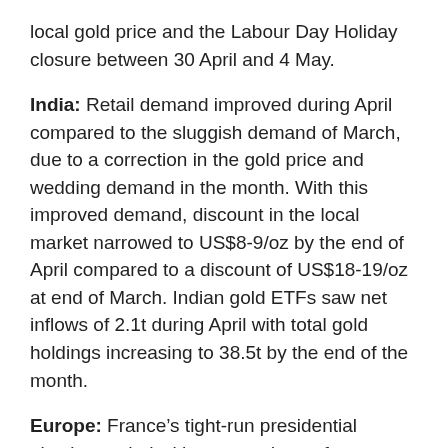local gold price and the Labour Day Holiday closure between 30 April and 4 May.
India: Retail demand improved during April compared to the sluggish demand of March, due to a correction in the gold price and wedding demand in the month. With this improved demand, discount in the local market narrowed to US$8-9/oz by the end of April compared to a discount of US$18-19/oz at end of March. Indian gold ETFs saw net inflows of 2.1t during April with total gold holdings increasing to 38.5t by the end of the month.
Europe: France’s tight-run presidential election ended with a second term for Emmanuel Macron, the first President to secure a second term in two